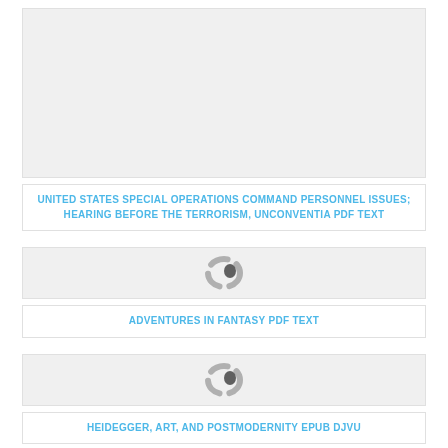[Figure (other): Large gray placeholder image area for first book listing]
UNITED STATES SPECIAL OPERATIONS COMMAND PERSONNEL ISSUES; HEARING BEFORE THE TERRORISM, UNCONVENTIA PDF TEXT
[Figure (other): Loading spinner icon for second book listing]
ADVENTURES IN FANTASY PDF TEXT
[Figure (other): Loading spinner icon for third book listing]
HEIDEGGER, ART, AND POSTMODERNITY EPUB DJVU
[Figure (other): Partial gray placeholder image area for fourth book listing]